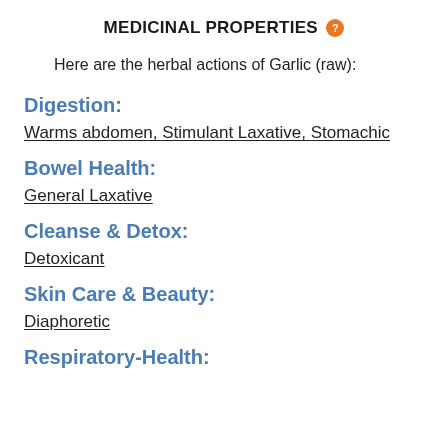MEDICINAL PROPERTIES
Here are the herbal actions of Garlic (raw):
Digestion:
Warms abdomen, Stimulant Laxative, Stomachic
Bowel Health:
General Laxative
Cleanse & Detox:
Detoxicant
Skin Care & Beauty:
Diaphoretic
Respiratory-Health: